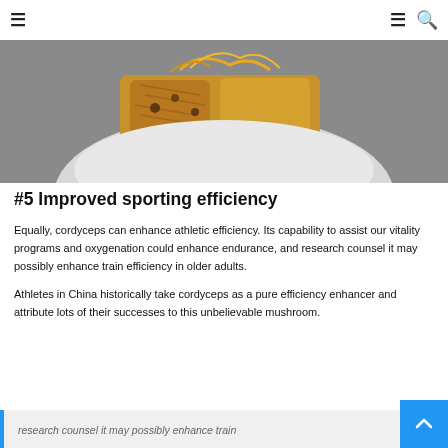≡  ≡ 🔍
[Figure (photo): Close-up photo of a hand holding food items resembling granola bars or mushroom-based snack pieces, with a grey background.]
#5 Improved sporting efficiency
Equally, cordyceps can enhance athletic efficiency. Its capability to assist our vitality programs and oxygenation could enhance endurance, and research counsel it may possibly enhance train efficiency in older adults.
Athletes in China historically take cordyceps as a pure efficiency enhancer and attribute lots of their successes to this unbelievable mushroom.
research counsel it may possibly enhance train